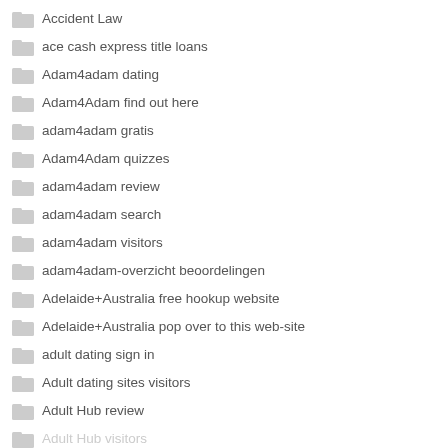Accident Law
ace cash express title loans
Adam4adam dating
Adam4Adam find out here
adam4adam gratis
Adam4Adam quizzes
adam4adam review
adam4adam search
adam4adam visitors
adam4adam-overzicht beoordelingen
Adelaide+Australia free hookup website
Adelaide+Australia pop over to this web-site
adult dating sign in
Adult dating sites visitors
Adult Hub review
Adult Hub visitors